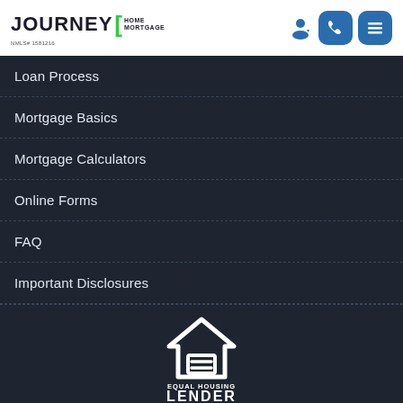[Figure (logo): Journey Home Mortgage logo with green bracket, NMLS# 1581216]
Loan Process
Mortgage Basics
Mortgage Calculators
Online Forms
FAQ
Important Disclosures
[Figure (logo): Equal Housing Lender logo with house and equal sign]
Powered By LenderHomePage.com